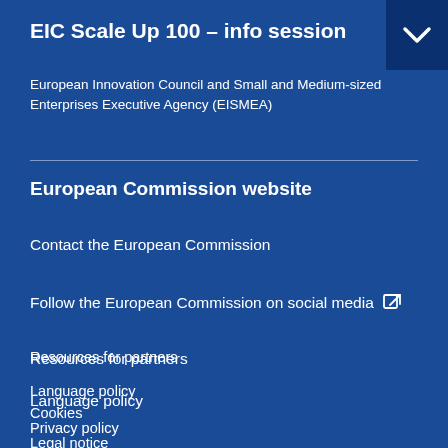EIC Scale Up 100 – info session
European Innovation Council and Small and Medium-sized Enterprises Executive Agency (EISMEA)
European Commission website
Contact the European Commission
Follow the European Commission on social media
Resources for partners
Language policy
Cookies
Privacy policy
Legal notice